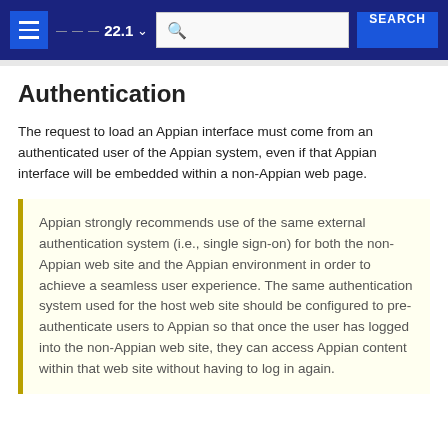22.1 SEARCH
Authentication
The request to load an Appian interface must come from an authenticated user of the Appian system, even if that Appian interface will be embedded within a non-Appian web page.
Appian strongly recommends use of the same external authentication system (i.e., single sign-on) for both the non-Appian web site and the Appian environment in order to achieve a seamless user experience. The same authentication system used for the host web site should be configured to pre-authenticate users to Appian so that once the user has logged into the non-Appian web site, they can access Appian content within that web site without having to log in again.